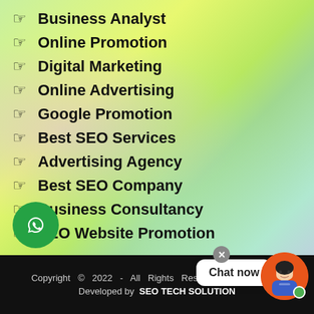☞ Business Analyst
☞ Online Promotion
☞ Digital Marketing
☞ Online Advertising
☞ Google Promotion
☞ Best SEO Services
☞ Advertising Agency
☞ Best SEO Company
☞ Business Consultancy
☞ SEO Website Promotion
Copyright © 2022 - All Rights Reserved. Designed & Developed by SEO TECH SOLUTION